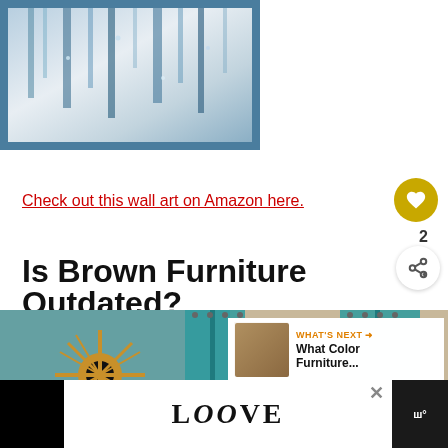[Figure (photo): Abstract blue and grey framed wall art painting with dripping paint effect, in a steel blue frame]
Check out this wall art on Amazon here.
[Figure (other): Heart/favorite button (gold circle with white heart icon) and share button, with number 2]
Is Brown Furniture Outdated?
[Figure (photo): Room interior with teal/turquoise curtains and a sunburst mirror on a teal wall. Overlay shows a 'What's Next' panel for 'What Color Furniture...']
[Figure (other): Advertisement bar at the bottom showing LOOVE logo text with decorative styling, close button X, and app icons on sides]